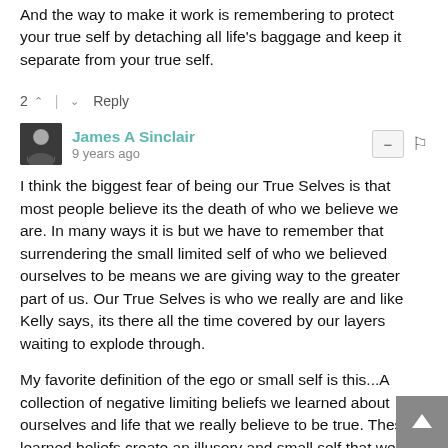And the way to make it work is remembering to protect your true self by detaching all life's baggage and keep it separate from your true self.
2 ^ | v Reply
James A Sinclair
9 years ago
I think the biggest fear of being our True Selves is that most people believe its the death of who we believe we are. In many ways it is but we have to remember that surrendering the small limited self of who we believed ourselves to be means we are giving way to the greater part of us. Our True Selves is who we really are and like Kelly says, its there all the time covered by our layers waiting to explode through.
My favorite definition of the ego or small self is this...A collection of negative limiting beliefs we learned about ourselves and life that we really believe to be true. These learned beliefs create an illusory and small self that we think is who we are. Yet, finding your True Self means allowing it since, in truth, its who we already are. and allowing it means